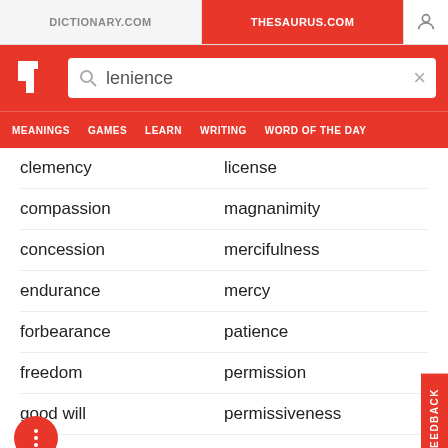DICTIONARY.COM | THESAURUS.COM
[Figure (screenshot): Thesaurus.com website header with logo and search bar showing 'lenience']
MEANINGS  GAMES  LEARN  WRITING  WORD OF THE DAY
clemency
license
compassion
magnanimity
concession
mercifulness
endurance
mercy
forbearance
patience
freedom
permission
good will
permissiveness
grace
sensitivity
humanity
sufferance